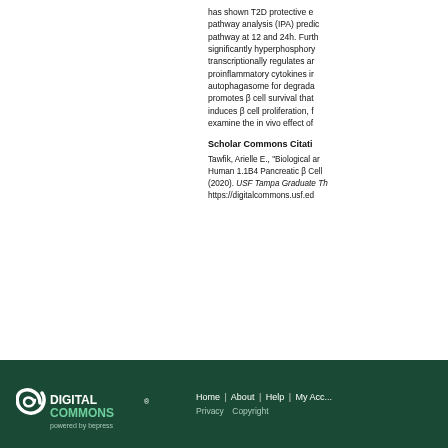has shown T2D protective e... pathway analysis (IPA) predic... pathway at 12 and 24h. Furth... significantly hyperphosphory... transcriptionally regulates a... proinflammatory cytokines i... autophagasome for degrada... promotes β cell survival that... induces β cell proliferation, f... examine the in vivo effect of
Scholar Commons Citati...
Tawfik, Arielle E., "Biological ar... Human 1.1B4 Pancreatic β Cel... (2020). USF Tampa Graduate Th... https://digitalcommons.usf.ed...
DIGITAL COMMONS® powered by bepress | Home | About | Help | My Acc... | Privacy | Copyright